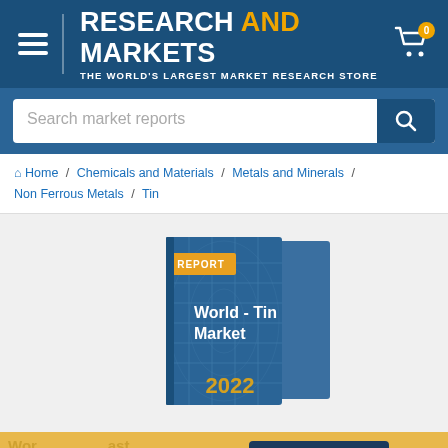RESEARCH AND MARKETS — THE WORLD'S LARGEST MARKET RESEARCH STORE
Search market reports
Home / Chemicals and Materials / Metals and Minerals / Non Ferrous Metals / Tin
[Figure (photo): Book cover image showing 'World - Tin Market 2022 Report' with a blue cover featuring a globe/grid pattern and a gold 'REPORT' label]
Price From: $3,990
VIEW PRICING